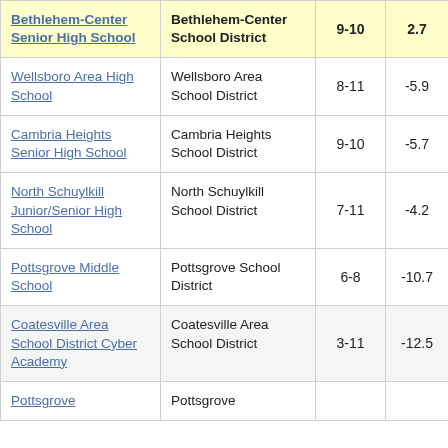| School | District | Grades | Value |  |
| --- | --- | --- | --- | --- |
| Bethlehem-Center Senior High School | Bethlehem-Center School District | 9-10 | 2.7 | 3 |
| Wellsboro Area High School | Wellsboro Area School District | 8-11 | -5.9 |  |
| Cambria Heights Senior High School | Cambria Heights School District | 9-10 | -5.7 |  |
| North Schuylkill Junior/Senior High School | North Schuylkill School District | 7-11 | -4.2 |  |
| Pottsgrove Middle School | Pottsgrove School District | 6-8 | -10.7 |  |
| Coatesville Area School District Cyber Academy | Coatesville Area School District | 3-11 | -12.5 |  |
| Pottsgrove | Pottsgrove |  |  |  |